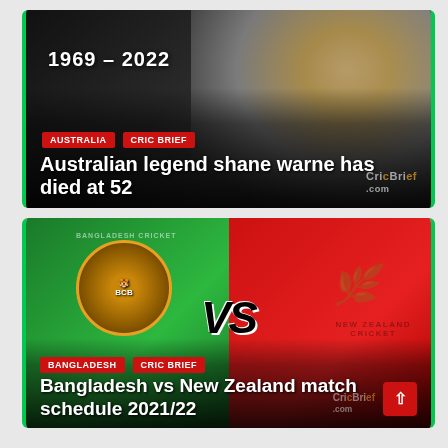[Figure (photo): Cricket news card: Shane Warne memorial image with text '1969–2022' over dark background with cricket player photo. Tags: AUSTRALIA, CRIC BRIEF. Headline: Australian legend shane warne has died at 52]
[Figure (infographic): Cricket news card: Bangladesh vs New Zealand match graphic. Left half green with Bangladesh cricket logo, right half red with New Zealand Cricket fern logo. VS text in center. Tags: BANGLADESH, CRIC BRIEF. Headline: Bangladesh vs New Zealand match schedule 2021/22]